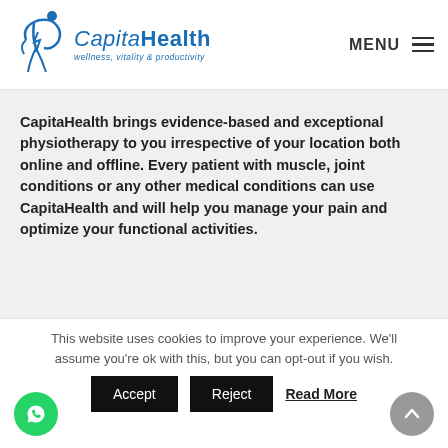[Figure (logo): CapitaHealth logo with stylized blue figure and text: 'CapitaHealth - wellness, vitality & productivity']
MENU ☰
CapitaHealth brings evidence-based and exceptional physiotherapy to you irrespective of your location both online and offline. Every patient with muscle, joint conditions or any other medical conditions can use CapitaHealth and will help you manage your pain and optimize your functional activities.
[Figure (photo): Partial photo of a person's face/head, cropped at bottom of visible area]
This website uses cookies to improve your experience. We'll assume you're ok with this, but you can opt-out if you wish.
Accept   Reject   Read More